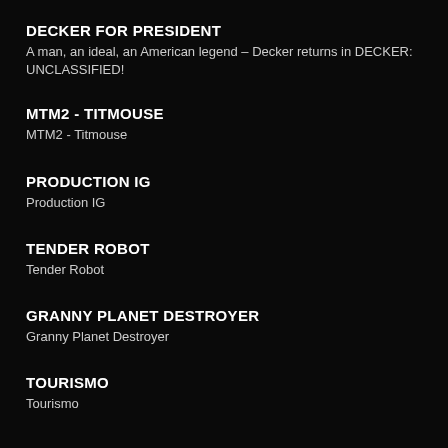DECKER FOR PRESIDENT
A man, an ideal, an American legend – Decker returns in DECKER: UNCLASSIFIED!
MTM2 - TITMOUSE
MTM2 - Titmouse
PRODUCTION IG
Production IG
TENDER ROBOT
Tender Robot
GRANNY PLANET DESTROYER
Granny Planet Destroyer
TOURISMO
Tourismo